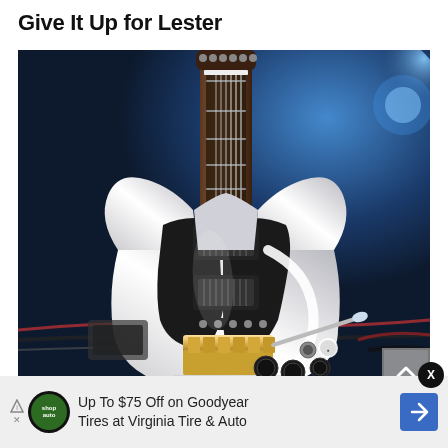Give It Up for Lester
[Figure (photo): Close-up photo of a silver/white SG-style electric guitar with a black pickguard, dual humbuckers, tremolo bar, and chrome hardware, set against a dark blue stage background with blue lighting effects.]
Up To $75 Off on Goodyear Tires at Virginia Tire & Auto